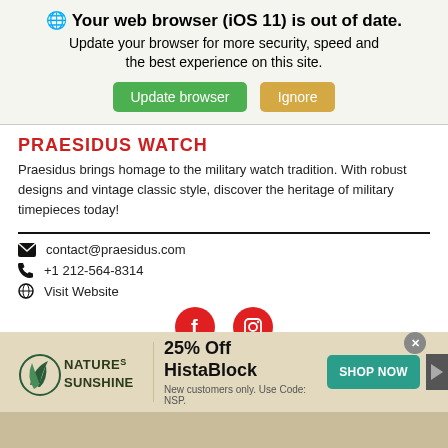[Figure (screenshot): Browser update warning banner with globe icon, bold text 'Your web browser (iOS 11) is out of date.' subtitle text, green 'Update browser' button and tan 'Ignore' button]
PRAESIDUS WATCH
Praesidus brings homage to the military watch tradition. With robust designs and vintage classic style, discover the heritage of military timepieces today!
contact@praesidus.com
+1 212-564-8314
Visit Website
[Figure (infographic): Two red circular social media icons: Facebook (f) and Instagram (camera)]
[Figure (infographic): Nature's Sunshine advertisement banner: logo, '25% Off HistaBlock', 'New customers only. Use Code: NSP.', teal 'SHOP NOW' button, close X, and play button]